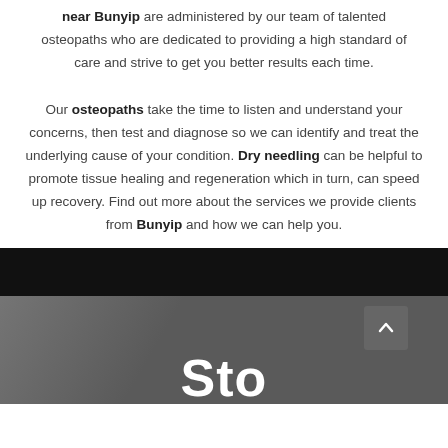near Bunyip are administered by our team of talented osteopaths who are dedicated to providing a high standard of care and strive to get you better results each time.
Our osteopaths take the time to listen and understand your concerns, then test and diagnose so we can identify and treat the underlying cause of your condition. Dry needling can be helpful to promote tissue healing and regeneration which in turn, can speed up recovery. Find out more about the services we provide clients from Bunyip and how we can help you.
[Figure (photo): Dark section with a back-to-top arrow button and the beginning of a large white heading text 'Sto...' over a blurry dark background image]